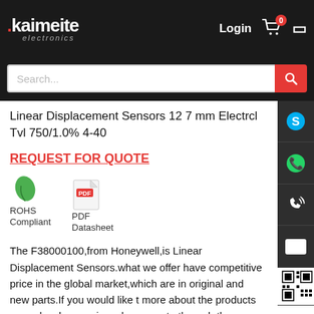Kaimeite electronics — Login, Cart (0)
Linear Displacement Sensors 12 7 mm Electrcl Tvl 750/1.0% 4-40
REQUEST FOR QUOTE
[Figure (logo): ROHS Compliant green leaf icon and PDF Datasheet icon]
The F38000100,from Honeywell,is Linear Displacement Sensors.what we offer have competitive price in the global market,which are in original and new parts.If you would like to know more about the products or apply a lower price, please contact us through the "online chat" or send a quote to us!